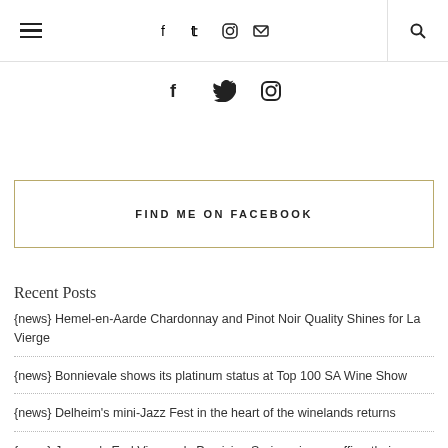≡  f  🐦  📷  ✉  🔍
[Figure (infographic): Social media icons row: Facebook, Twitter, Instagram]
FIND ME ON FACEBOOK
Recent Posts
{news} Hemel-en-Aarde Chardonnay and Pinot Noir Quality Shines for La Vierge
{news} Bonnievale shows its platinum status at Top 100 SA Wine Show
{news} Delheim's mini-Jazz Fest in the heart of the winelands returns
{news} Journey's End Vineyards Precision Series wines reaffirm their stature year after year